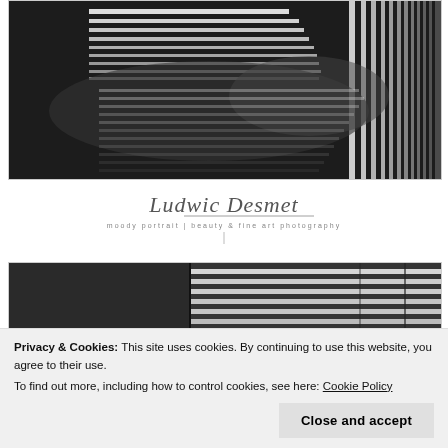[Figure (photo): Black and white artistic photograph showing a person lying down with dramatic striped light and shadow patterns across their body, high contrast monochrome image]
[Figure (illustration): Signature and logo of 'Ludwic Desmet' with cursive handwritten name and subtitle text 'beauty & fine art photography']
[Figure (photo): Black and white photograph showing horizontal slats or blinds creating striped light patterns, partial view]
Privacy & Cookies: This site uses cookies. By continuing to use this website, you agree to their use.
To find out more, including how to control cookies, see here: Cookie Policy
Close and accept